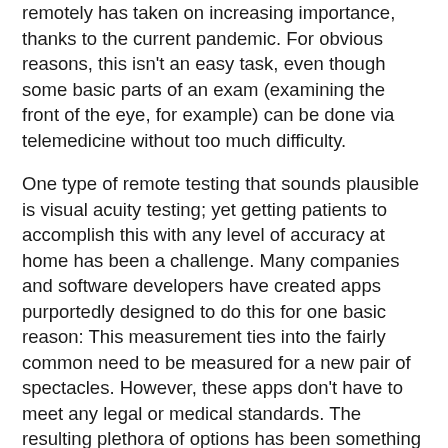remotely has taken on increasing importance, thanks to the current pandemic. For obvious reasons, this isn't an easy task, even though some basic parts of an exam (examining the front of the eye, for example) can be done via telemedicine without too much difficulty.
One type of remote testing that sounds plausible is visual acuity testing; yet getting patients to accomplish this with any level of accuracy at home has been a challenge. Many companies and software developers have created apps purportedly designed to do this for one basic reason: This measurement ties into the fairly common need to be measured for a new pair of spectacles. However, these apps don't have to meet any legal or medical standards. The resulting plethora of options has been something resembling the Wild West.
Given the pandemic, however, ophthalmologists and optometrists have become interested in finding a medically useful way to effectively measure visual acuity at home. As a result, studies of the accuracy of different apps and other remote testing options have recently begun to appear in the